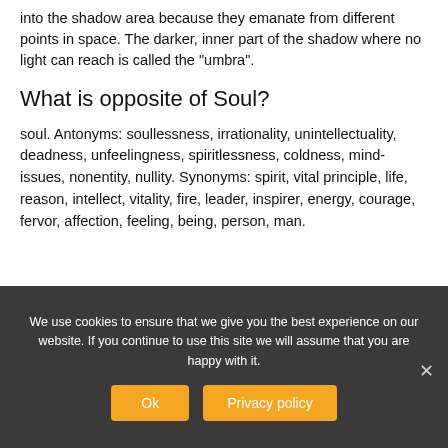into the shadow area because they emanate from different points in space. The darker, inner part of the shadow where no light can reach is called the “umbra”.
What is opposite of Soul?
soul. Antonyms: soullessness, irrationality, unintellectuality, deadness, unfeelingness, spiritlessness, coldness, mind-issues, nonentity, nullity. Synonyms: spirit, vital principle, life, reason, intellect, vitality, fire, leader, inspirer, energy, courage, fervor, affection, feeling, being, person, man.
We use cookies to ensure that we give you the best experience on our website. If you continue to use this site we will assume that you are happy with it.